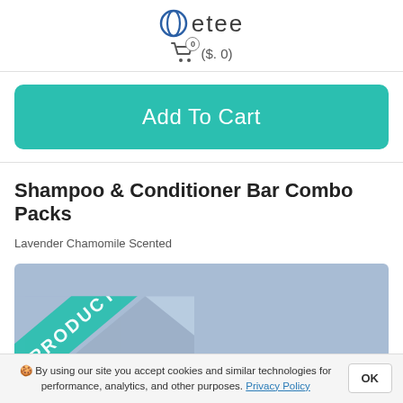etee — shopping cart icon with badge ($.0)
Add To Cart
Shampoo & Conditioner Bar Combo Packs
Lavender Chamomile Scented
[Figure (photo): Product image with diagonal teal ribbon banner reading 'PRODUCT' over a light blue-grey background]
🍪 By using our site you accept cookies and similar technologies for performance, analytics, and other purposes. Privacy Policy